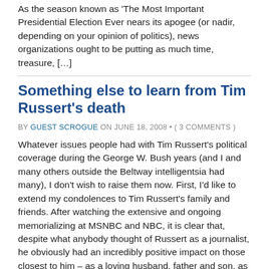As the season known as 'The Most Important Presidential Election Ever nears its apogee (or nadir, depending on your opinion of politics), news organizations ought to be putting as much time, treasure, […]
Something else to learn from Tim Russert's death
BY GUEST SCROGUE ON JUNE 18, 2008 • ( 3 COMMENTS )
Whatever issues people had with Tim Russert's political coverage during the George W. Bush years (and I and many others outside the Beltway intelligentsia had many), I don't wish to raise them now. First, I'd like to extend my condolences to Tim Russert's family and friends. After watching the extensive and ongoing memorializing at MSNBC and NBC, it is clear that, despite what anybody thought of Russert as a journalist, he obviously had an incredibly positive impact on those closest to him – as a loving husband, father and son, as well as a supportive, good-natured and inspiring friend and colleague.